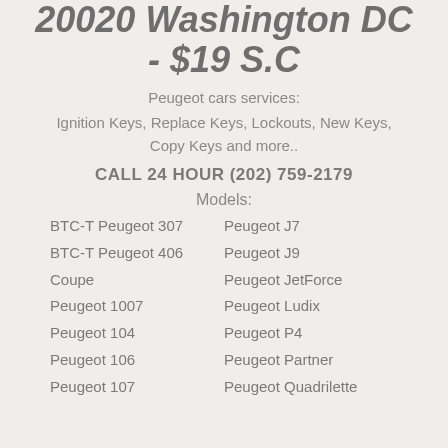20020 Washington DC - $19 S.C
Peugeot cars services:
Ignition Keys, Replace Keys, Lockouts, New Keys, Copy Keys and more..
CALL 24 HOUR (202) 759-2179
Models:
BTC-T Peugeot 307
BTC-T Peugeot 406
Coupe
Peugeot 1007
Peugeot 104
Peugeot 106
Peugeot 107
Peugeot J7
Peugeot J9
Peugeot JetForce
Peugeot Ludix
Peugeot P4
Peugeot Partner
Peugeot Quadrilette